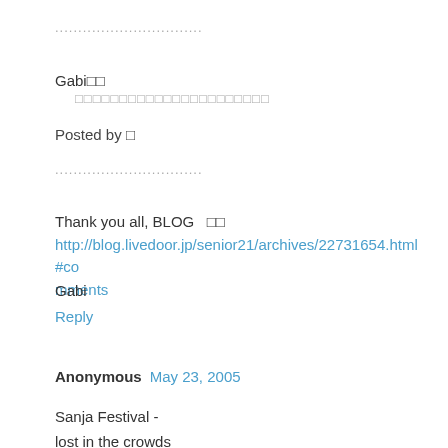................................
Gabi□□
    □□□□□□□□□□□□□□□□□□□□□□
Posted by □
................................
Thank you all, BLOG □□
http://blog.livedoor.jp/senior21/archives/22731654.html#comments
Gabi
Reply
Anonymous May 23, 2005
Sanja Festival -
lost in the crowds
I taste Old Edo